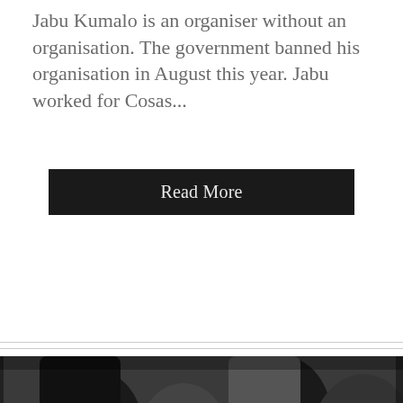Jabu Kumalo is an organiser without an organisation. The government banned his organisation in August this year. Jabu worked for Cosas...
[Figure (other): Black and white photograph showing two people in a crowd, a woman on the left and a smiling person on the right]